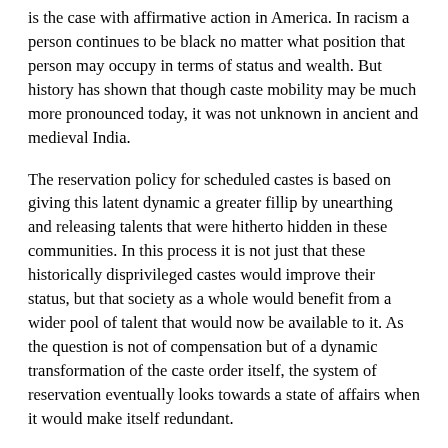is the case with affirmative action in America. In racism a person continues to be black no matter what position that person may occupy in terms of status and wealth. But history has shown that though caste mobility may be much more pronounced today, it was not unknown in ancient and medieval India.
The reservation policy for scheduled castes is based on giving this latent dynamic a greater fillip by unearthing and releasing talents that were hitherto hidden in these communities. In this process it is not just that these historically disprivileged castes would improve their status, but that society as a whole would benefit from a wider pool of talent that would now be available to it. As the question is not of compensation but of a dynamic transformation of the caste order itself, the system of reservation eventually looks towards a state of affairs when it would make itself redundant.
In race the scenario is quite different. Once a black, always a black. This fixity cannot be transposed to caste politics, without doing a lot of damage to empirical reality. Once a chamar is not always a chamar, once a scavenger is not always a scavenger, and